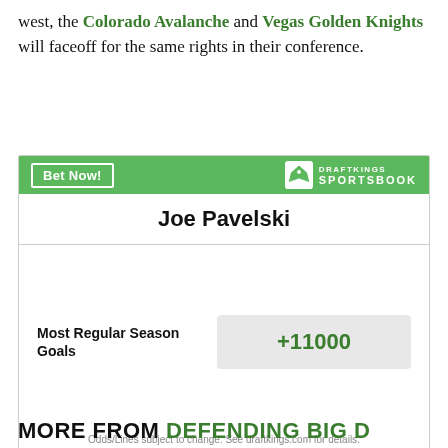west, the Colorado Avalanche and Vegas Golden Knights will faceoff for the same rights in their conference.
[Figure (other): DraftKings Sportsbook widget showing Joe Pavelski betting odds. Header: green bar with 'Bet Now!' button and DraftKings Sportsbook logo. Player name: Joe Pavelski. Bet line: Most Regular Season Goals, odds +11000. Footer: Odds/Lines subject to change. See draftkings.com for details.]
MORE FROM DEFENDING BIG D